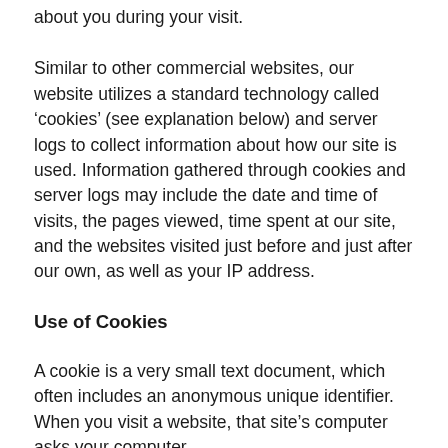about you during your visit.
Similar to other commercial websites, our website utilizes a standard technology called ‘cookies’ (see explanation below) and server logs to collect information about how our site is used. Information gathered through cookies and server logs may include the date and time of visits, the pages viewed, time spent at our site, and the websites visited just before and just after our own, as well as your IP address.
Use of Cookies
A cookie is a very small text document, which often includes an anonymous unique identifier. When you visit a website, that site’s computer asks your computer